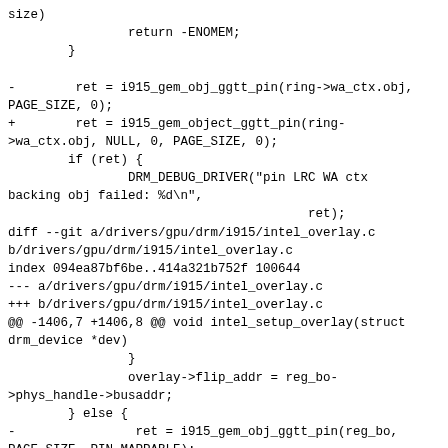size)
                return -ENOMEM;
        }

-        ret = i915_gem_obj_ggtt_pin(ring->wa_ctx.obj, PAGE_SIZE, 0);
+        ret = i915_gem_object_ggtt_pin(ring->wa_ctx.obj, NULL, 0, PAGE_SIZE, 0);
        if (ret) {
                DRM_DEBUG_DRIVER("pin LRC WA ctx backing obj failed: %d\n",
                                                ret);
diff --git a/drivers/gpu/drm/i915/intel_overlay.c b/drivers/gpu/drm/i915/intel_overlay.c
index 094ea87bf6be..414a321b752f 100644
--- a/drivers/gpu/drm/i915/intel_overlay.c
+++ b/drivers/gpu/drm/i915/intel_overlay.c
@@ -1406,7 +1406,8 @@ void intel_setup_overlay(struct drm_device *dev)
                }
                overlay->flip_addr = reg_bo->phys_handle->busaddr;
        } else {
-                ret = i915_gem_obj_ggtt_pin(reg_bo, PAGE_SIZE, PIN_MAPPABLE);
+                ret = i915_gem_object_ggtt_pin(reg_bo, NULL,
+                                               0, PAGE_SIZE, PIN_MAPPABLE);
                if (ret) {